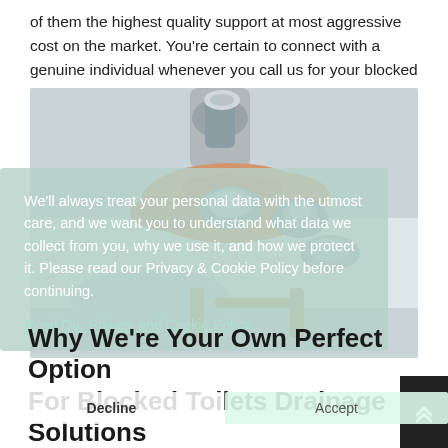of them the highest quality support at most aggressive cost on the market. You're certain to connect with a genuine individual whenever you call us for your blocked toilet issues
[Figure (photo): Close-up photo of a person's hand working on a bathroom faucet/tap fixture mounted on a sink, with chrome fittings visible]
We'll always treat your personal data with the utmost care, and we want you to understand what data we collect from you, why we use it, and how we protect it. Please read our Privacy & Cookie Policy before continuing.
Read Our Privacy and Cookie Policy
Decline
Accept
Why We're Your Own Perfect Option For Blocked Toilets Drainage Solutions